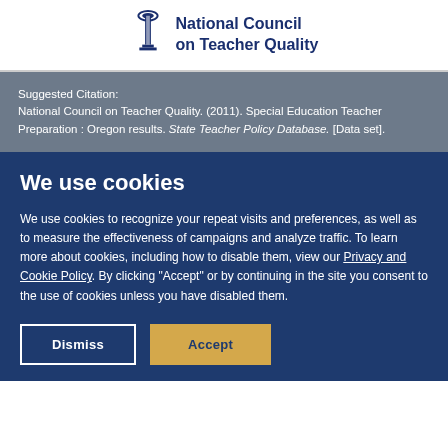[Figure (logo): National Council on Teacher Quality logo with torch/pillar icon and organization name in dark blue]
Suggested Citation:
National Council on Teacher Quality. (2011). Special Education Teacher Preparation : Oregon results. State Teacher Policy Database. [Data set].
We use cookies
We use cookies to recognize your repeat visits and preferences, as well as to measure the effectiveness of campaigns and analyze traffic. To learn more about cookies, including how to disable them, view our Privacy and Cookie Policy. By clicking "Accept" or by continuing in the site you consent to the use of cookies unless you have disabled them.
Dismiss | Accept